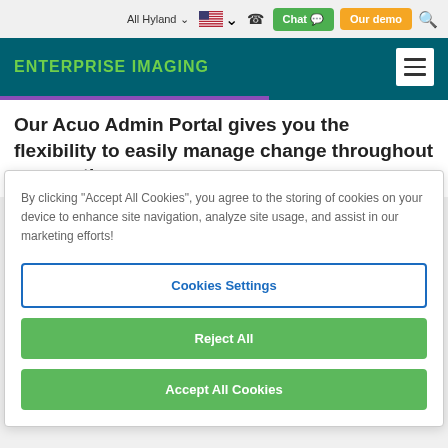All Hyland | [flag] | [phone] | Chat | Our demo | [search]
ENTERPRISE IMAGING
Our Acuo Admin Portal gives you the flexibility to easily manage change throughout your entire
By clicking "Accept All Cookies", you agree to the storing of cookies on your device to enhance site navigation, analyze site usage, and assist in our marketing efforts!
Cookies Settings
Reject All
Accept All Cookies